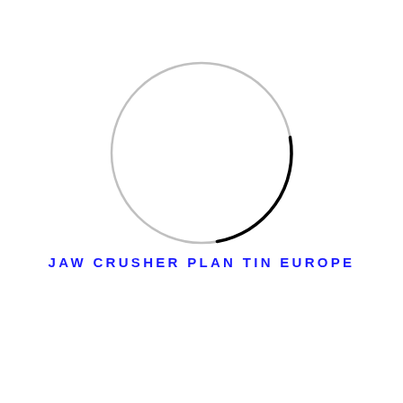[Figure (other): A large circle drawn with a thin light gray stroke, with a short arc segment on the right side rendered in black/dark, forming a logo or emblem. The circle is centered horizontally in the upper portion of the page.]
JAW CRUSHER PLAN TIN EUROPE